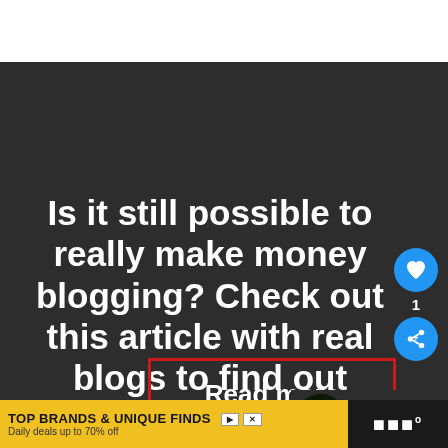[Figure (screenshot): Dark background section of a blog article page]
Is it still possible to really make money blogging? Check out this article with real blogs to find out
Read more
[Figure (infographic): Social widget with heart (like) button showing count 1 and share button]
[Figure (other): What's Next panel showing a thumbnail and text '10 Reasons Why Your...']
[Figure (other): Advertisement banner: TOP BRANDS & UNIQUE FINDS - Daily deals up to 70% off - zulily]